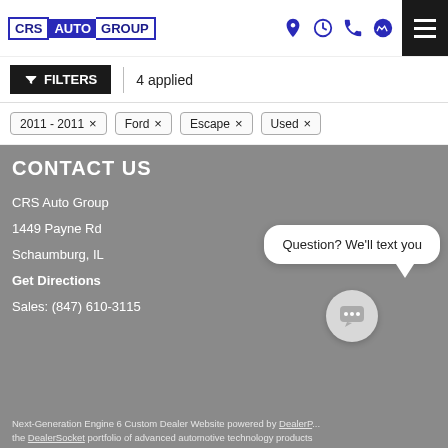[Figure (logo): CRS Auto Group logo with blue border and blue background on AUTO text]
[Figure (infographic): Header icons: location pin, clock, phone, messenger — and hamburger menu]
FILTERS | 4 applied
2011 - 2011 ×
Ford ×
Escape ×
Used ×
CONTACT US
CRS Auto Group
1449 Payne Rd
Schaumburg, IL
Get Directions
Sales: (847) 610-3115
[Figure (screenshot): Chat bubble saying 'Question? We'll text you' with a chat icon below it]
Next-Generation Engine 6 Custom Dealer Website powered by DealerP... the DealerSocket portfolio of advanced automotive technology products